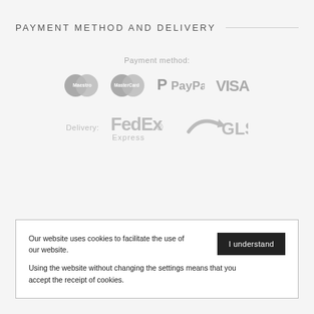PAYMENT METHOD AND DELIVERY
Payment method:
[Figure (logo): Payment method logos: Maestro, MasterCard, PayPal, VISA]
[Figure (logo): Delivery logos: FedEx Express, GLS]
Our website uses cookies to facilitate the use of our website. Using the website without changing the settings means that you accept the receipt of cookies.